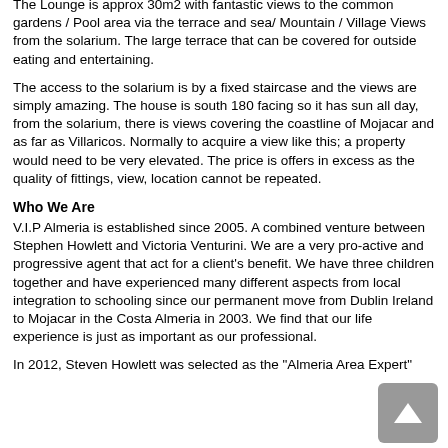office space / Library with sofa bed.
The second large bedroom is 14m2 and close to the large shower room.
The master bedroom is approx 20m2 (en-suite with a bathroom)
The Lounge is approx 30m2 with fantastic views to the common gardens / Pool area via the terrace and sea/ Mountain / Village Views from the solarium. The large terrace that can be covered for outside eating and entertaining.
The access to the solarium is by a fixed staircase and the views are simply amazing. The house is south 180 facing so it has sun all day, from the solarium, there is views covering the coastline of Mojacar and as far as Villaricos. Normally to acquire a view like this; a property would need to be very elevated. The price is offers in excess as the quality of fittings, view, location cannot be repeated.
Who We Are
V.I.P Almeria is established since 2005. A combined venture between Stephen Howlett and Victoria Venturini. We are a very pro-active and progressive agent that act for a client's benefit. We have three children together and have experienced many different aspects from local integration to schooling since our permanent move from Dublin Ireland to Mojacar in the Costa Almeria in 2003. We find that our life experience is just as important as our professional.
In 2012, Steven Howlett was selected as the "Almeria Area Expert"